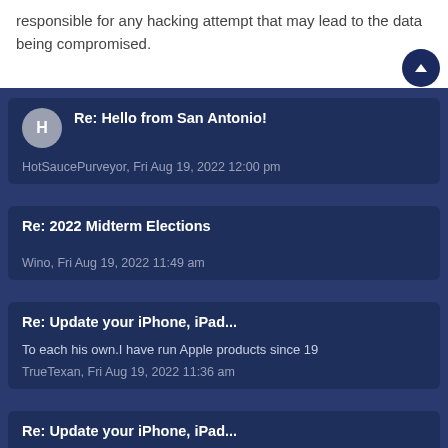responsible for any hacking attempt that may lead to the data being compromised.
Re: Hello from San Antonio!
HotSaucePurveyor, Fri Aug 19, 2022 12:00 pm
Re: 2022 Midterm Elections
Wino, Fri Aug 19, 2022 11:49 am
Re: Update your iPhone, iPad...
To each his own.I have run Apple products since 19
TrueTexan, Fri Aug 19, 2022 11:36 am
Re: Update your iPhone, iPad...